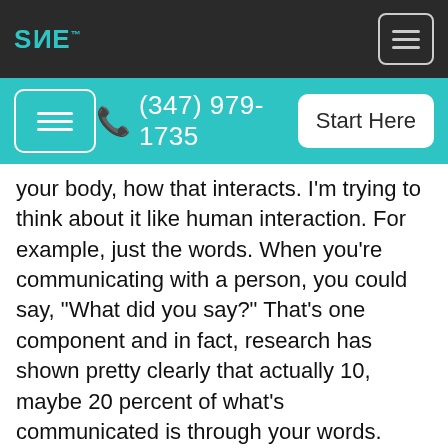SANE logo and navigation bar
(347) 979-1735  Start Here
your body, how that interacts. I'm trying to think about it like human interaction. For example, just the words. When you're communicating with a person, you could say, "What did you say?" That's one component and in fact, research has shown pretty clearly that actually 10, maybe 20 percent of what's communicated is through your words. There's all this other stuff that's below the surface like body language and intonation and rapport and whether or not you're making eye contact and your rate of speech. There's all these other things that come together in the package of human interaction that actually determine whether or not the message you